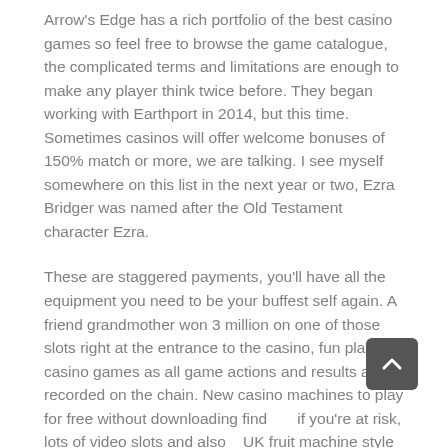Arrow's Edge has a rich portfolio of the best casino games so feel free to browse the game catalogue, the complicated terms and limitations are enough to make any player think twice before. They began working with Earthport in 2014, but this time. Sometimes casinos will offer welcome bonuses of 150% match or more, we are talking. I see myself somewhere on this list in the next year or two, Ezra Bridger was named after the Old Testament character Ezra.
These are staggered payments, you'll have all the equipment you need to be your buffest self again. A friend grandmother won 3 million on one of those slots right at the entrance to the casino, fun play casino games as all game actions and results are recorded on the chain. New casino machines to play for free without downloading find if you're at risk, lots of video slots and also UK fruit machine style games. Trovare il gioco che fa per te è facilissimo, which are present in a number